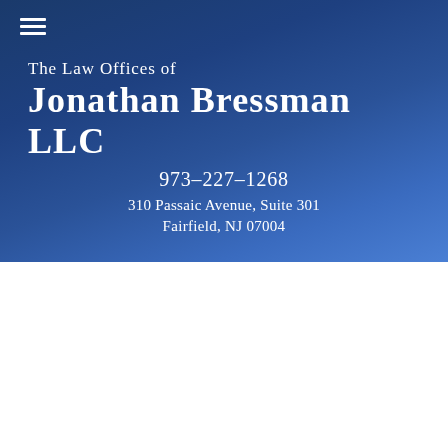The Law Offices of Jonathan Bressman LLC
973-227-1268
310 Passaic Avenue, Suite 301
Fairfield, NJ 07004
NEWSLETTERS
The American Jobs Creation Act of 2004 - Individuals